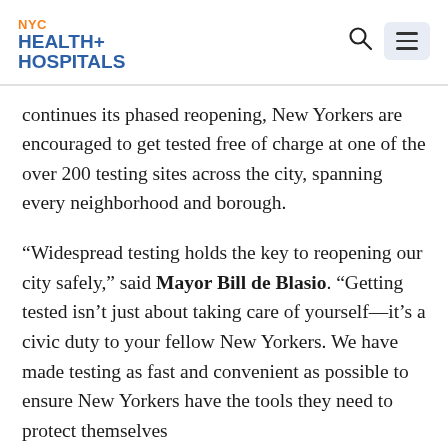NYC HEALTH+ HOSPITALS
continues its phased reopening, New Yorkers are encouraged to get tested free of charge at one of the over 200 testing sites across the city, spanning every neighborhood and borough.
“Widespread testing holds the key to reopening our city safely,” said Mayor Bill de Blasio. “Getting tested isn’t just about taking care of yourself—it’s a civic duty to your fellow New Yorkers. We have made testing as fast and convenient as possible to ensure New Yorkers have the tools they need to protect themselves